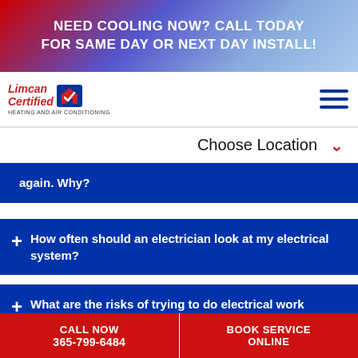NEED COOLING NOW? CALL TODAY FOR SAME DAY OR NEXT DAY INSTALL!
[Figure (logo): Limcan Certified Heating and Air Conditioning logo with red house/checkmark icon]
Choose Location ∨
again. Why?
How often should an electrician look at my electrical system?
What are the risks of trying to do electrical work yourself?
How much does electrical wiring in a house cost?
CALL NOW 365-799-6484 | BOOK SERVICE ONLINE